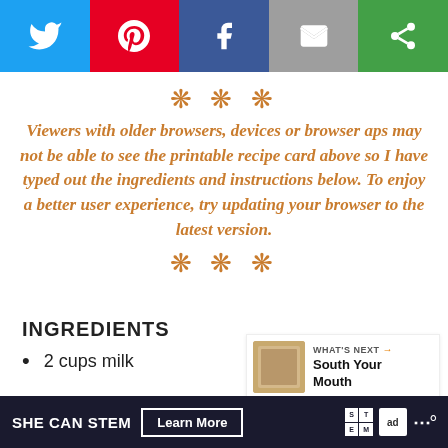[Figure (screenshot): Social sharing bar with Twitter (blue), Pinterest (red), Facebook (dark blue), Email (gray), and another share button (green) icons]
*** Viewers with older browsers, devices or browser aps may not be able to see the printable recipe card above so I have typed out the ingredients and instructions below. To enjoy a better user experience, try updating your browser to the latest version. ***
INGREDIENTS
2 cups milk
2 cups water
[Figure (infographic): What's Next promo card with thumbnail image and text 'South Your Mouth']
SHE CAN STEM  Learn More